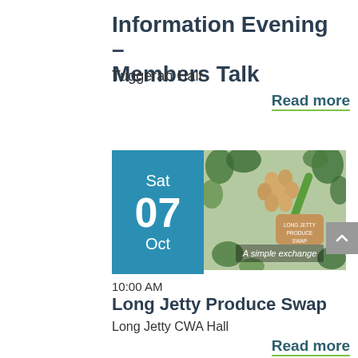Information Evening – Members Talk
Tuggerah Hall
Read more
[Figure (other): Blue date box showing Sat 07 Oct, and a photo of produce swap items including eggs, vegetables and a sign saying 'Long Jetty Produce Swap' with overlay text 'A simple exchange']
10:00 AM
Long Jetty Produce Swap
Long Jetty CWA Hall
Read more